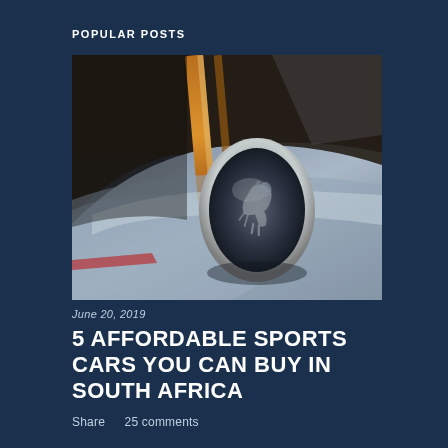POPULAR POSTS
[Figure (photo): Close-up photograph of a car's rear badge/emblem area showing a Ford Mustang running horse emblem in a chrome oval, with sleek silver bodywork and warm-toned reflections]
June 20, 2019
5 AFFORDABLE SPORTS CARS YOU CAN BUY IN SOUTH AFRICA
Share    25 comments